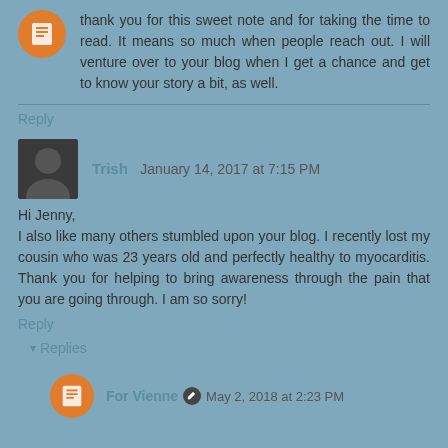thank you for this sweet note and for taking the time to read. It means so much when people reach out. I will venture over to your blog when I get a chance and get to know your story a bit, as well.
Reply
Trish January 14, 2017 at 7:15 PM
Hi Jenny,
I also like many others stumbled upon your blog. I recently lost my cousin who was 23 years old and perfectly healthy to myocarditis. Thank you for helping to bring awareness through the pain that you are going through. I am so sorry!
Reply
▾ Replies
For Vienne  May 2, 2018 at 2:23 PM